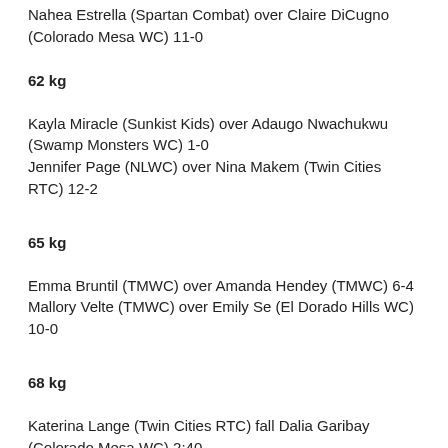Nahea Estrella (Spartan Combat) over Claire DiCugno (Colorado Mesa WC) 11-0
62 kg
Kayla Miracle (Sunkist Kids) over Adaugo Nwachukwu (Swamp Monsters WC) 1-0
Jennifer Page (NLWC) over Nina Makem (Twin Cities RTC) 12-2
65 kg
Emma Bruntil (TMWC) over Amanda Hendey (TMWC) 6-4
Mallory Velte (TMWC) over Emily Se (El Dorado Hills WC) 10-0
68 kg
Katerina Lange (Twin Cities RTC) fall Dalia Garibay (Colorado Mesa WC) 2:40
Sienna Ramirez (Southern Oregon WC) fall Nahelia Magee (Army WCAP) 2:27